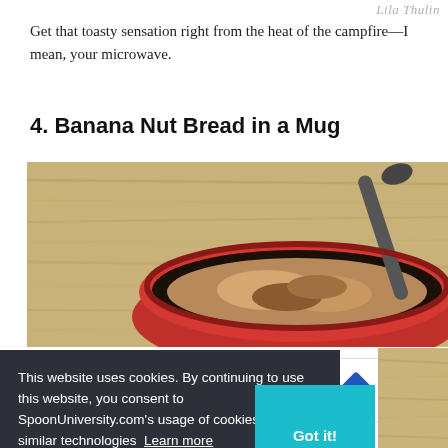Lila Thulin
Get that toasty sensation right from the heat of the campfire—I mean, your microwave.
4. Banana Nut Bread in a Mug
[Figure (photo): Overhead photo of a red bowl containing banana nut bread with a spoon, on a wooden surface]
[Figure (other): Advertisement banner: HC logo, 'View store hours, get directions, or call your salon!' with blue diamond arrow icon]
This website uses cookies. By continuing to use this website, you consent to SpoonUniversity.com's usage of cookies and similar technologies Learn more
Got it!